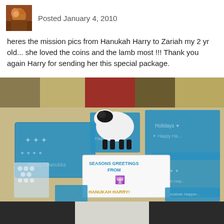Posted January 4, 2010
heres the mission pics from Hanukah Harry to Zariah my 2 yr old... she loved the coins and the lamb most !!! Thank you again Harry for sending her this special package.
[Figure (photo): Photo of Hanukkah gifts wrapped in blue and silver star wrapping paper arranged on a carpet, with a stuffed white lamb toy and a card reading SEASONS GREETINGS FROM HANUKAH HARRY with a menorah image]